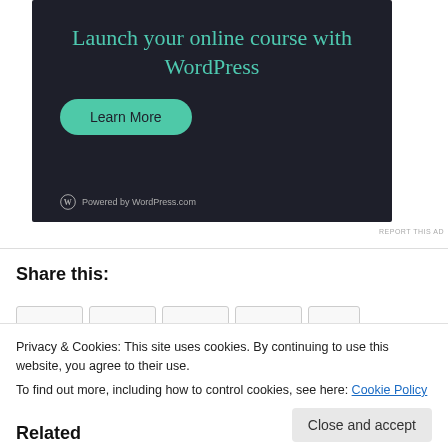[Figure (illustration): WordPress.com advertisement banner with dark background. Heading reads 'Launch your online course with WordPress' in teal. Green pill-shaped 'Learn More' button. WordPress logo and 'Powered by WordPress.com' text at the bottom.]
REPORT THIS AD
Share this:
Privacy & Cookies: This site uses cookies. By continuing to use this website, you agree to their use.
To find out more, including how to control cookies, see here: Cookie Policy
Close and accept
Related